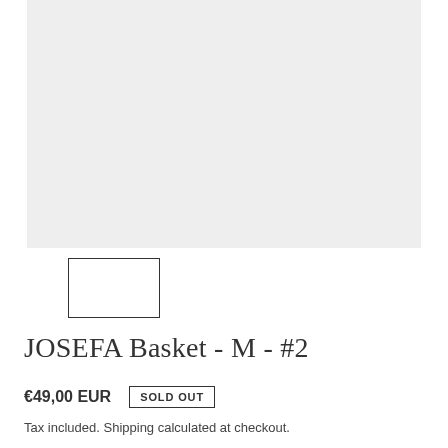[Figure (photo): Product image placeholder — large light grey rectangle representing a product photo of the JOSEFA Basket M #2]
[Figure (photo): Small thumbnail image placeholder — outlined rectangle with border, showing a thumbnail of the product]
JOSEFA Basket - M - #2
€49,00 EUR  SOLD OUT
Tax included. Shipping calculated at checkout.